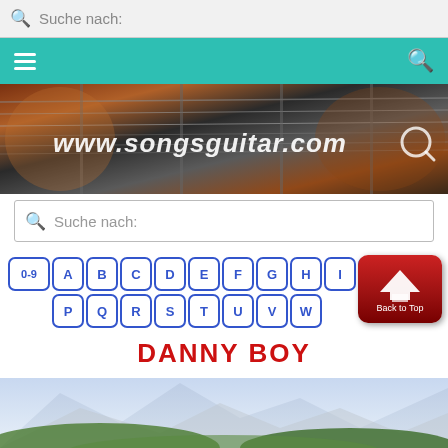Suche nach:
[Figure (screenshot): Teal navigation bar with hamburger menu and search icon]
[Figure (screenshot): Guitar banner with URL www.songsguitar.com and magnifier icon]
Suche nach:
[Figure (infographic): Alphabetical navigation buttons: 0-9 A B C D E F G H I J K L M N O (row1), P Q R S T U V W (row2) with Back to Top red button]
DANNY BOY
[Figure (photo): Mountain landscape with green hills and blue sky]